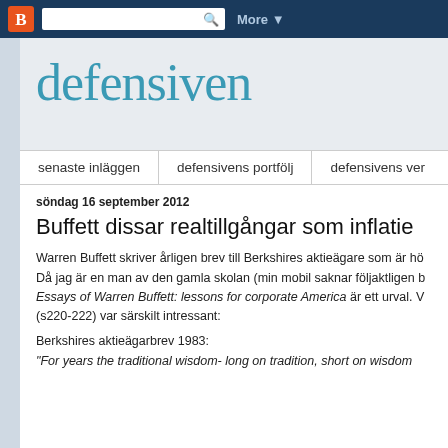Blogger | More
defensiven
senaste inläggen | defensivens portfölj | defensivens ver…
söndag 16 september 2012
Buffett dissar realtillgångar som inflatie…
Warren Buffett skriver årligen brev till Berkshires aktieägare som är hö… Då jag är en man av den gamla skolan (min mobil saknar följaktligen b… Essays of Warren Buffett: lessons for corporate America är ett urval. V… (s220-222) var särskilt intressant:
Berkshires aktieägarbrev 1983:
"For years the traditional wisdom- long on tradition, short on wisdom…